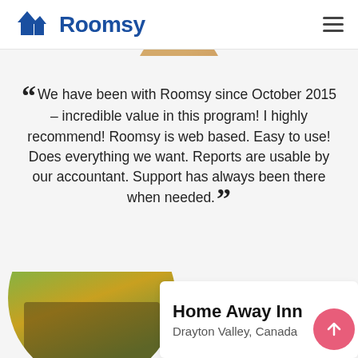Roomsy
We have been with Roomsy since October 2015 – incredible value in this program! I highly recommend! Roomsy is web based. Easy to use! Does everything we want. Reports are usable by our accountant. Support has always been there when needed.
[Figure (other): Five gold star rating icons]
Home Away Inn
Drayton Valley, Canada